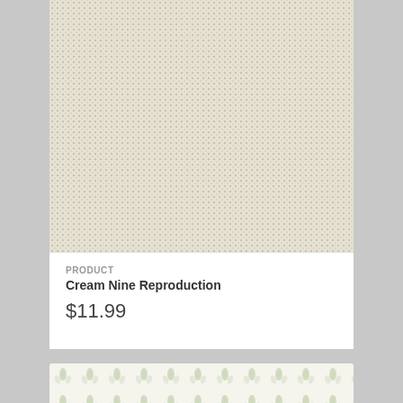[Figure (photo): Close-up photo of a cream/beige woven fabric texture with a fine dot/weave pattern, showing the textile surface of a rug or fabric swatch]
PRODUCT
Cream Nine Reproduction
$11.99
[Figure (photo): Close-up photo of a white fabric with a light green floral/botanical repeating pattern, showing a fabric or wallpaper swatch]